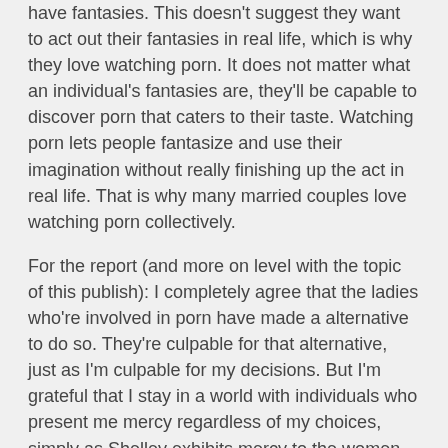have fantasies. This doesn't suggest they want to act out their fantasies in real life, which is why they love watching porn. It does not matter what an individual's fantasies are, they'll be capable to discover porn that caters to their taste. Watching porn lets people fantasize and use their imagination without really finishing up the act in real life. That is why many married couples love watching porn collectively.
For the report (and more on level with the topic of this publish): I completely agree that the ladies who're involved in porn have made a alternative to do so. They're culpable for that alternative, just as I'm culpable for my decisions. But I'm grateful that I stay in a world with individuals who present me mercy regardless of my choices, simply as Shelley exhibits mercy to the women she works with who are within the business. I might hope we all want to reside in a world like that.
When people hear that we train a e-session 18-hour